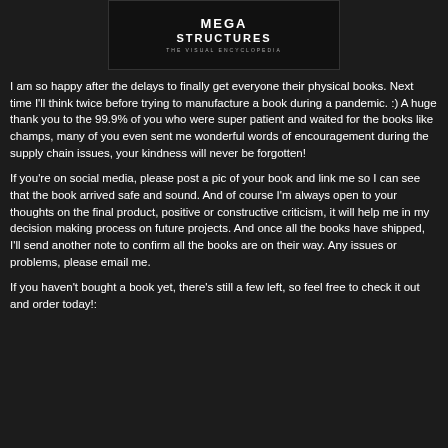[Figure (illustration): Book cover image for 'Mega Structures: The Visual Encyclopedia' shown against dark background with space/sci-fi themed design]
I am so happy after the delays to finally get everyone their physical books. Next time I'll think twice before trying to manufacture a book during a pandemic. :) A huge thank you to the 99.9% of you who were super patient and waited for the books like champs, many of you even sent me wonderful words of encouragement during the supply chain issues, your kindness will never be forgotten!
If you're on social media, please post a pic of your book and link me so I can see that the book arrived safe and sound. And of course I'm always open to your thoughts on the final product, positive or constructive criticism, it will help me in my decision making process on future projects. And once all the books have shipped, I'll send another note to confirm all the books are on their way. Any issues or problems, please email me.
If you haven't bought a book yet, there's still a few left, so feel free to check it out and order today!: